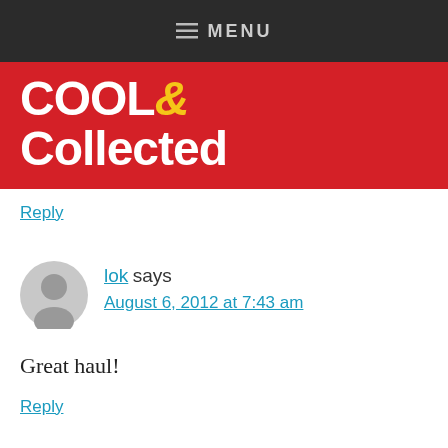≡ MENU
[Figure (logo): Cool & Collected logo — white bold text on red background with yellow ampersand]
Reply
lok says August 6, 2012 at 7:43 am
Great haul!
Reply